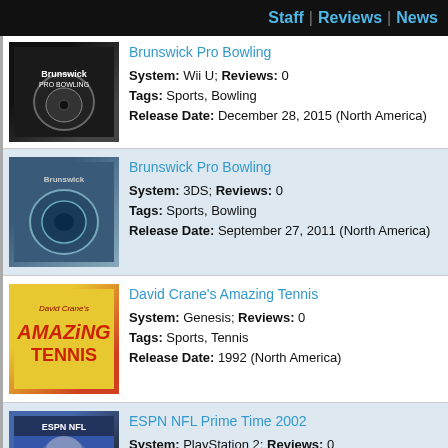Staff | Reviews | News
Brunswick Pro Bowling
System: Wii U; Reviews: 0
Tags: Sports, Bowling
Release Date: December 28, 2015 (North America)
Brunswick Pro Bowling
System: 3DS; Reviews: 0
Tags: Sports, Bowling
Release Date: September 27, 2011 (North America)
David Crane's Amazing Tennis
System: Genesis; Reviews: 0
Tags: Sports, Tennis
Release Date: 1992 (North America)
ESPN NFL Prime Time 2002
System: PlayStation 2; Reviews: 0
Tags: Sports, Football
Release Date: October 30, 2001 (North America)
Game Party 3
System: Wii; Reviews: 0
Tags: General, Party
Release Date: October 6, 2009 (North America)
Hard Rock Casino
System: PlayStation 2; Reviews: 0
Tags: Simulation, Gambling
Release Date: November 20, 2006 (North America)